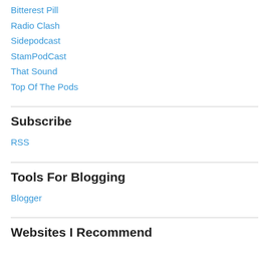Bitterest Pill
Radio Clash
Sidepodcast
StamPodCast
That Sound
Top Of The Pods
Subscribe
RSS
Tools For Blogging
Blogger
Websites I Recommend